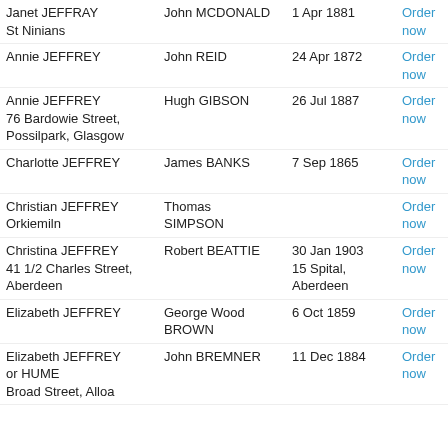| Name | Spouse | Date | Order | Reference |
| --- | --- | --- | --- | --- |
| Janet JEFFRAY
St Ninians | John MCDONALD | 1 Apr 1881 | Order now | Stirling SC67/5/2... |
| Annie JEFFREY | John REID | 24 Apr 1872 | Order now | Glasgow SC36/14... |
| Annie JEFFREY
76 Bardowie Street, Possilpark, Glasgow | Hugh GIBSON | 26 Jul 1887 | Order now | Paisley SC58/7/2... |
| Charlotte JEFFREY | James BANKS | 7 Sep 1865 | Order now | Kilmarnock SC7/5/8... |
| Christian JEFFREY
Orkiemiln | Thomas SIMPSON |  | Order now | Cupar SC20/4/... |
| Christina JEFFREY
41 1/2 Charles Street, Aberdeen | Robert BEATTIE | 30 Jan 1903
15 Spital, Aberdeen | Order now | Aberdeen SC1/7/19... |
| Elizabeth JEFFREY | George Wood BROWN | 6 Oct 1859 | Order now | Glasgow SC36/14... |
| Elizabeth JEFFREY or HUME
Broad Street, Alloa | John BREMNER | 11 Dec 1884 | Order now | Alloa SC64/7/5... |